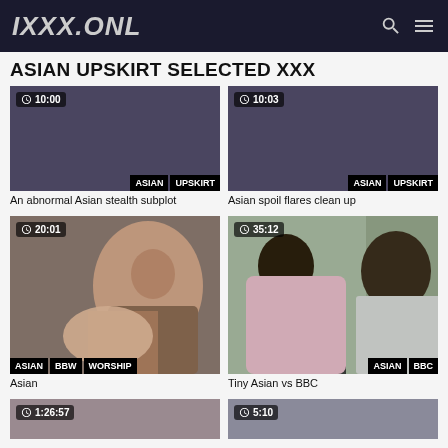IXXX.ONL
ASIAN UPSKIRT SELECTED XXX
[Figure (screenshot): Video thumbnail placeholder – dark purple, timer 10:00, tags ASIAN UPSKIRT]
An abnormal Asian stealth subplot
[Figure (screenshot): Video thumbnail placeholder – dark purple, timer 10:03, tags ASIAN UPSKIRT]
Asian spoil flares clean up
[Figure (photo): Video thumbnail – Asian woman on couch, timer 20:01, tags ASIAN BBW WORSHIP]
Asian
[Figure (photo): Video thumbnail – outdoor scene with two people, timer 35:12, tags ASIAN BBC]
Tiny Asian vs BBC
[Figure (screenshot): Video thumbnail partial – timer 1:26:57]
[Figure (screenshot): Video thumbnail partial – timer 5:10]